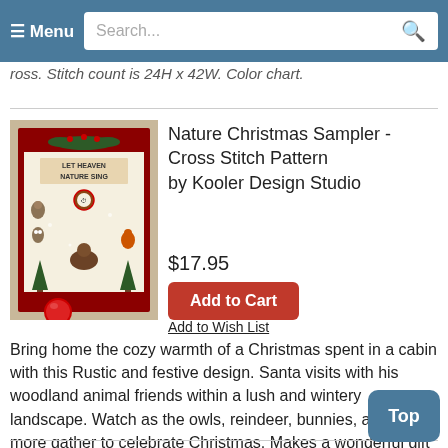Menu  Search...
ross. Stitch count is 24H x 42W. Color chart.
[Figure (photo): Cross stitch pattern book cover showing Nature Christmas Sampler with woodland animals and 'Let Heaven Nature Sing' text, surrounded by Christmas decorations]
Nature Christmas Sampler - Cross Stitch Pattern by Kooler Design Studio
$17.95
Add to Cart
Add to Wish List
Bring home the cozy warmth of a Christmas spent in a cabin with this Rustic and festive design. Santa visits with his woodland animal friends within a lush and wintery landscape. Watch as the owls, reindeer, bunnies, and many more gather to celebrate Christmas. Makes a wonderful gift for the anim
Read more